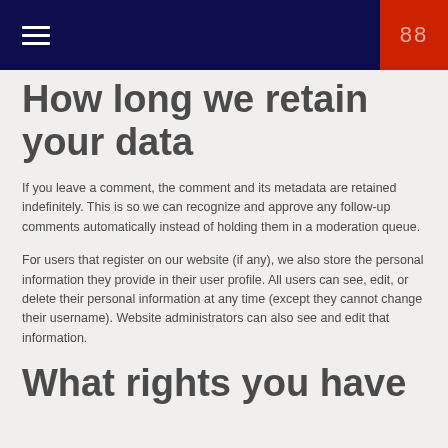≡  88
How long we retain your data
If you leave a comment, the comment and its metadata are retained indefinitely. This is so we can recognize and approve any follow-up comments automatically instead of holding them in a moderation queue.
For users that register on our website (if any), we also store the personal information they provide in their user profile. All users can see, edit, or delete their personal information at any time (except they cannot change their username). Website administrators can also see and edit that information.
What rights you have